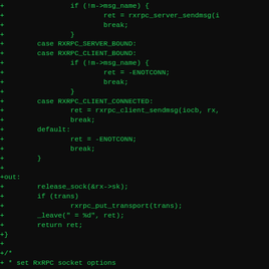[Figure (screenshot): Code diff screenshot showing C source code additions (green text on black background) for rxrpc socket send and setsockopt functions, including switch cases for RXRPC_SERVER_BOUND, RXRPC_CLIENT_BOUND, RXRPC_CLIENT_CONNECTED, default, and out label with cleanup code.]